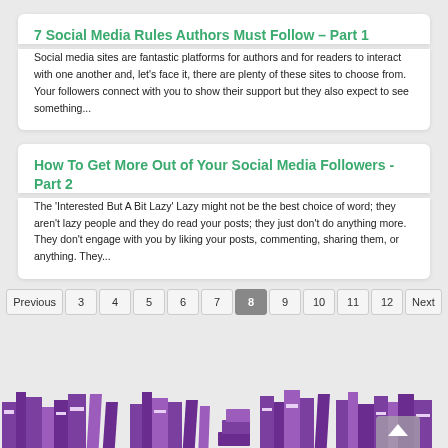7 Social Media Rules Authors Must Follow – Part 1
Social media sites are fantastic platforms for authors and for readers to interact with one another and, let's face it, there are plenty of these sites to choose from. Your followers connect with you to show their support but they also expect to see something...
How To Get More Out of Your Social Media Followers - Part 2
The 'Interested But A Bit Lazy' Lazy might not be the best choice of word; they aren't lazy people and they do read your posts; they just don't do anything more. They don't engage with you by liking your posts, commenting, sharing them, or anything. They...
Previous 3 4 5 6 7 8 9 10 11 12 Next
[Figure (illustration): Purple silhouette illustration of stacked books along the bottom of the page]